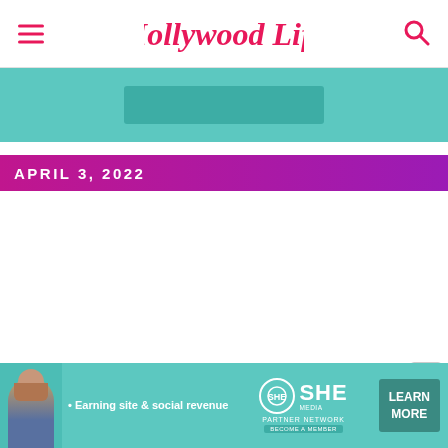Hollywood Life
[Figure (other): Teal/turquoise advertisement banner at top of page with darker teal button element in center]
APRIL 3, 2022
[Figure (other): Bottom advertisement banner for SHE Media Partner Network with text: Earning site & social revenue, SHE PARTNER NETWORK, BECOME A MEMBER, LEARN MORE button, and person photo on left]